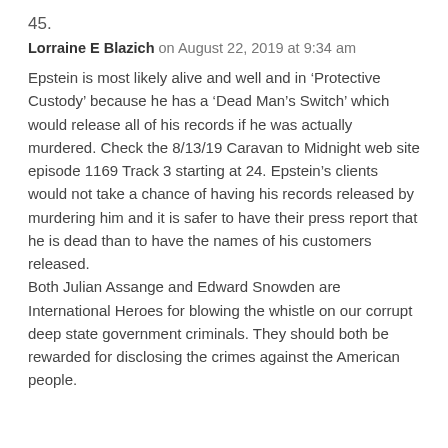45.
Lorraine E Blazich on August 22, 2019 at 9:34 am
Epstein is most likely alive and well and in ‘Protective Custody’ because he has a ‘Dead Man’s Switch’ which would release all of his records if he was actually murdered. Check the 8/13/19 Caravan to Midnight web site episode 1169 Track 3 starting at 24. Epstein’s clients would not take a chance of having his records released by murdering him and it is safer to have their press report that he is dead than to have the names of his customers released.
Both Julian Assange and Edward Snowden are International Heroes for blowing the whistle on our corrupt deep state government criminals. They should both be rewarded for disclosing the crimes against the American people.
46.
Daphine Sypher on October 23, 2019 at 4:27 pm